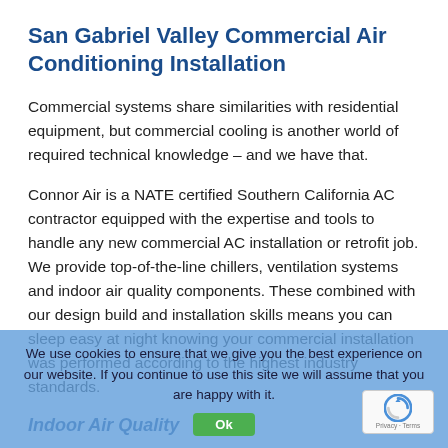San Gabriel Valley Commercial Air Conditioning Installation
Commercial systems share similarities with residential equipment, but commercial cooling is another world of required technical knowledge – and we have that.
Connor Air is a NATE certified Southern California AC contractor equipped with the expertise and tools to handle any new commercial AC installation or retrofit job. We provide top-of-the-line chillers, ventilation systems and indoor air quality components. These combined with our design build and installation skills means you can sleep easy at night knowing your commercial installation was performed according to the highest industry standards.
Indoor Air Quality
You've probably heard indoor air quality mentioned before. It has become a popular buzz word in the HVAC